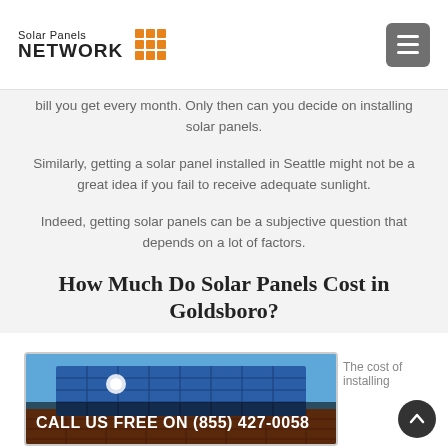Solar Panels NETWORK
bill you get every month. Only then can you decide on installing solar panels.
Similarly, getting a solar panel installed in Seattle might not be a great idea if you fail to receive adequate sunlight.
Indeed, getting solar panels can be a subjective question that depends on a lot of factors.
How Much Do Solar Panels Cost in Goldsboro?
[Figure (photo): Solar panels installed on an orange/terracotta tiled roof against a blue sky, with sunlight glinting off the panels.]
CALL US FREE ON (855) 427-0058
The cost of installing